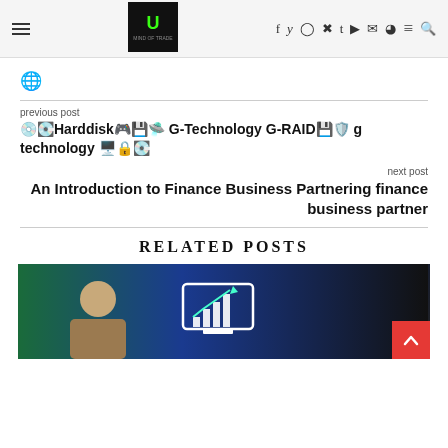Navigation header with hamburger menu, logo, social icons (f, twitter, instagram, pinterest, tumblr, youtube, mail, snapchat, menu, search)
[Figure (logo): Dark square logo with green stylized icon and text]
🌐 (globe icon)
previous post
💿💽Harddisk🎮💾🛸 G-Technology G-RAID💾🛡️ g technology 🖥️🔒💽
next post
An Introduction to Finance Business Partnering finance business partner
RELATED POSTS
[Figure (photo): Photo of a person with a computer/monitor icon with upward trending chart graphic, dark blue background gradient]